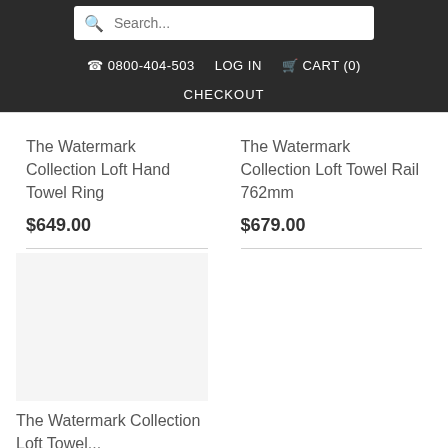Search...
☎ 0800-404-503  LOG IN  🛒 CART (0)
CHECKOUT
The Watermark Collection Loft Hand Towel Ring
$649.00
The Watermark Collection Loft Towel Rail 762mm
$679.00
The Watermark Collection Loft Towel...